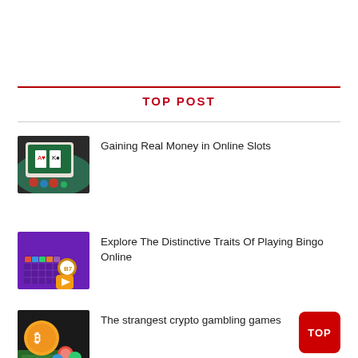TOP POST
[Figure (photo): Tablet displaying a blackjack card game table with poker chips]
Gaining Real Money in Online Slots
[Figure (photo): Purple background with colorful bingo balls and a play button icon]
Explore The Distinctive Traits Of Playing Bingo Online
[Figure (photo): Bitcoin coin surrounded by colorful casino chips and dollar bills]
The strangest crypto gambling games